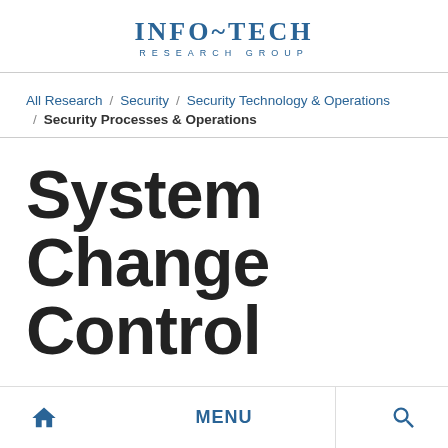INFO~TECH RESEARCH GROUP
All Research / Security / Security Technology & Operations / Security Processes & Operations
System Change Control
Home  MENU  Search